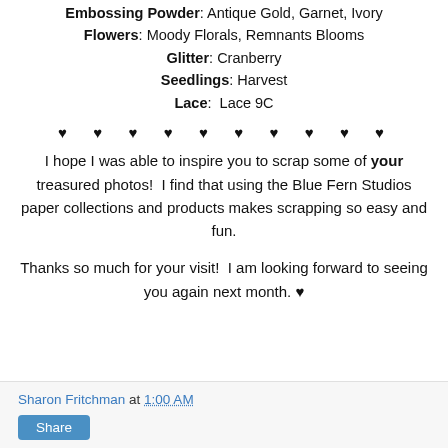Embossing Powder: Antique Gold, Garnet, Ivory
Flowers: Moody Florals, Remnants Blooms
Glitter: Cranberry
Seedlings: Harvest
Lace:  Lace 9C
♥ ♥ ♥ ♥ ♥ ♥ ♥ ♥ ♥ ♥
I hope I was able to inspire you to scrap some of your treasured photos!  I find that using the Blue Fern Studios paper collections and products makes scrapping so easy and fun.
Thanks so much for your visit!  I am looking forward to seeing you again next month. ♥
Sharon Fritchman at 1:00 AM
Share